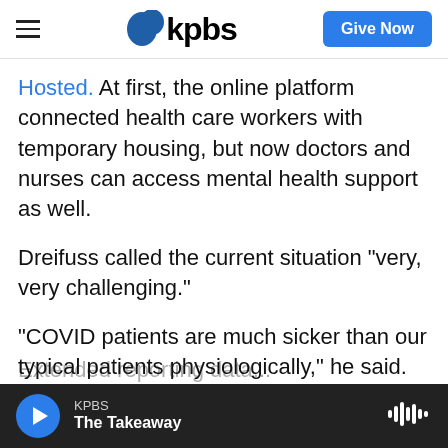KPBS — Give Now
Hosted. At first, the online platform connected health care workers with temporary housing, but now doctors and nurses can access mental health support as well.
Dreifuss called the current situation "very, very challenging."
"COVID patients are much sicker than our typical patients physiologically," he said. "When you're working with constrained resources and uncertainty, it makes it a lot worse."
KPBS — The Takeaway